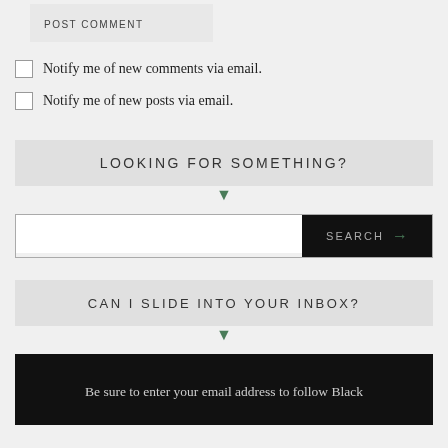[Figure (screenshot): POST COMMENT button rendered as a light grey rectangular UI button]
Notify me of new comments via email.
Notify me of new posts via email.
LOOKING FOR SOMETHING?
[Figure (screenshot): Search bar with white input field and black SEARCH button with green arrow]
CAN I SLIDE INTO YOUR INBOX?
Be sure to enter your email address to follow Black